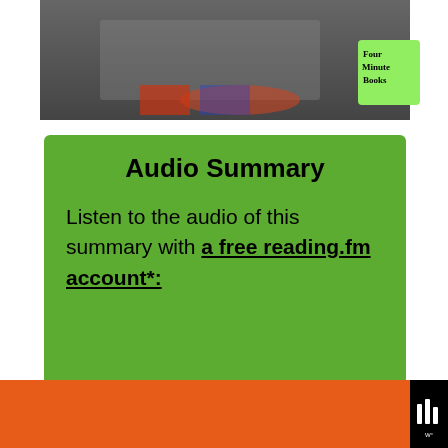[Figure (photo): Screenshot of a video player showing a blurred/dark presentation scene with a Four Minute Books logo badge in the top right corner]
Audio Summary
Listen to the audio of this summary with a free reading.fm account*:
[Figure (infographic): Advertisement bar: You can help hungry kids. No Kid Hungry logo. LEARN HOW button. Close X button. Wistia icon on right.]